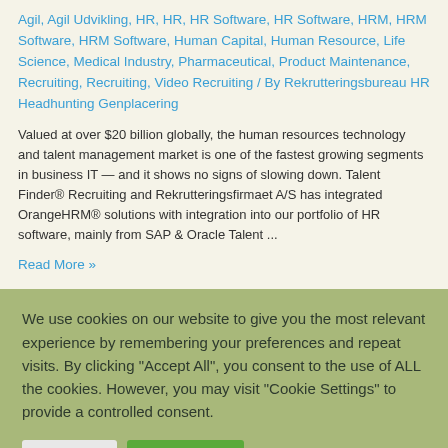Agil, Agil Udvikling, HR, HR, HR Software, HR Software, HRM, HRM Software, HRM Software, Human Capital, Human Resource, Life Science, Medical Industry, Pharmaceutical, Product Maintenance, Recruiting, Recruiting, Video Recruiting / By Rekrutteringsbureau HR Headhunting Genplacering
Valued at over $20 billion globally, the human resources technology and talent management market is one of the fastest growing segments in business IT — and it shows no signs of slowing down. Talent Finder® Recruiting and Rekrutteringsfirmaet A/S has integrated OrangeHRM® solutions with integration into our portfolio of HR software, mainly from SAP & Oracle Talent ...
Read More »
We use cookies on our website to give you the most relevant experience by remembering your preferences and repeat visits. By clicking "Accept All", you consent to the use of ALL the cookies. However, you may visit "Cookie Settings" to provide a controlled consent.